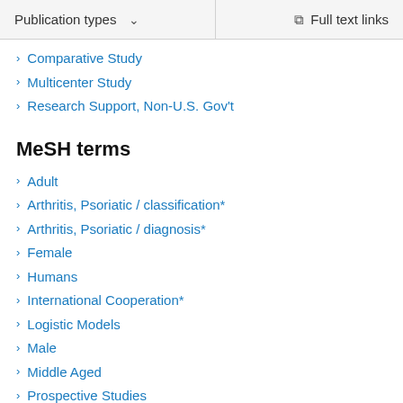Publication types  Full text links
Comparative Study
Multicenter Study
Research Support, Non-U.S. Gov't
MeSH terms
Adult
Arthritis, Psoriatic / classification*
Arthritis, Psoriatic / diagnosis*
Female
Humans
International Cooperation*
Logistic Models
Male
Middle Aged
Prospective Studies
ROC Curve